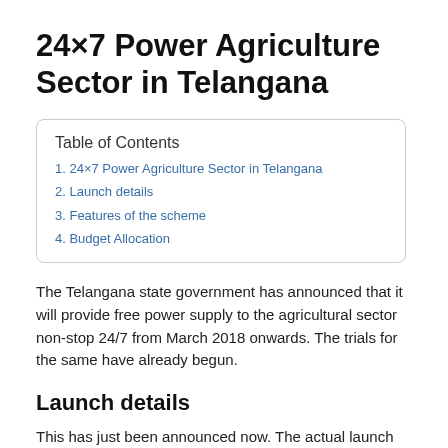24×7 Power Agriculture Sector in Telangana
| Table of Contents |
| --- |
| 1. 24×7 Power Agriculture Sector in Telangana |
| 2. Launch details |
| 3. Features of the scheme |
| 4. Budget Allocation |
The Telangana state government has announced that it will provide free power supply to the agricultural sector non-stop 24/7 from March 2018 onwards. The trials for the same have already begun.
Launch details
This has just been announced now. The actual launch and implementation of the scheme will be from March 2018 onwards. Till then the government is just checking out how